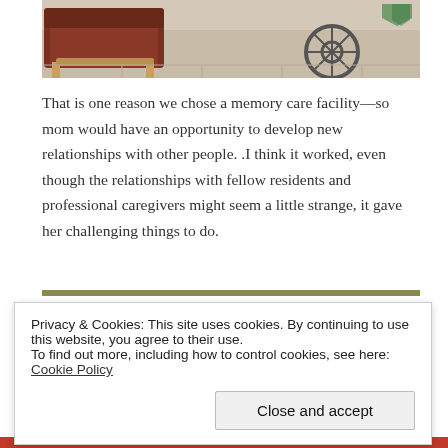[Figure (photo): Photo of a chair and wheelchair in what appears to be a care facility hallway with tiled floor]
That is one reason we chose a memory care facility—so mom would have an opportunity to develop new relationships with other people. .I think it worked, even though the relationships with fellow residents and professional caregivers might seem a little strange, it gave her challenging things to do.
Privacy & Cookies: This site uses cookies. By continuing to use this website, you agree to their use.
To find out more, including how to control cookies, see here: Cookie Policy
Close and accept